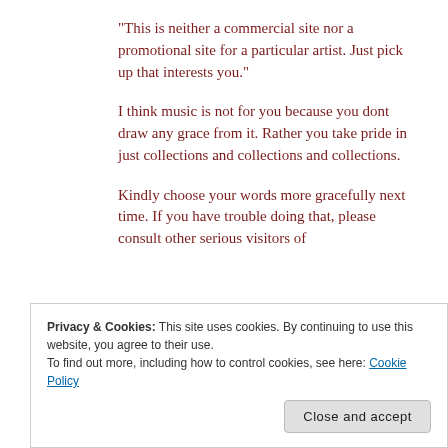“This is neither a commercial site nor a promotional site for a particular artist. Just pick up that interests you.”
I think music is not for you because you dont draw any grace from it. Rather you take pride in just collections and collections and collections.
Kindly choose your words more gracefully next time. If you have trouble doing that, please consult other serious visitors of
Privacy & Cookies: This site uses cookies. By continuing to use this website, you agree to their use.
To find out more, including how to control cookies, see here: Cookie Policy
Close and accept